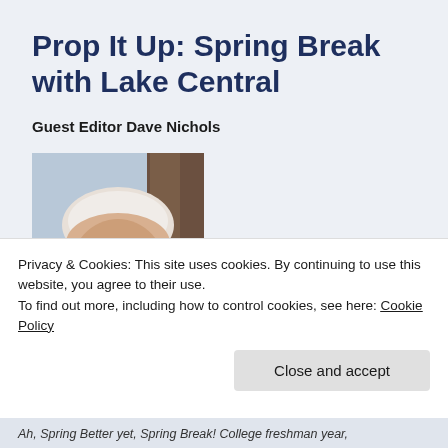Prop It Up: Spring Break with Lake Central
Guest Editor Dave Nichols
[Figure (photo): Headshot photo of Dave Nichols, an older man with white hair, smiling, wearing a teal shirt, with trees in the background]
Privacy & Cookies: This site uses cookies. By continuing to use this website, you agree to their use. To find out more, including how to control cookies, see here: Cookie Policy
Close and accept
Ah, Spring Better yet, Spring Break! College freshman year,